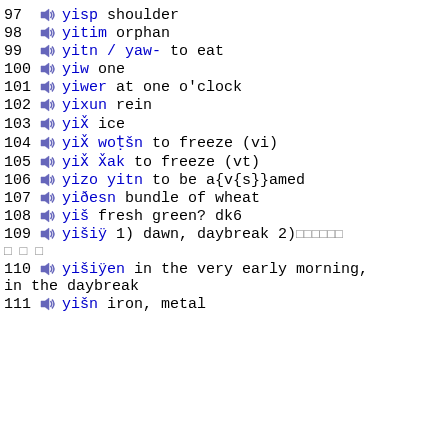97 yisp shoulder
98 yitim orphan
99 yitn / yaw- to eat
100 yiw one
101 yiwer at one o'clock
102 yixun rein
103 yix̌ ice
104 yix̌ wotšn to freeze (vi)
105 yix̌ x̌ak to freeze (vt)
106 yizo yitn to be a{v{s}}amed
107 yiðesn bundle of wheat
108 yiš fresh green? dk6
109 yišiÿ 1) dawn, daybreak 2) □□□□□□□ □□□
110 yišiÿen in the very early morning, in the daybreak
111 yišn iron, metal